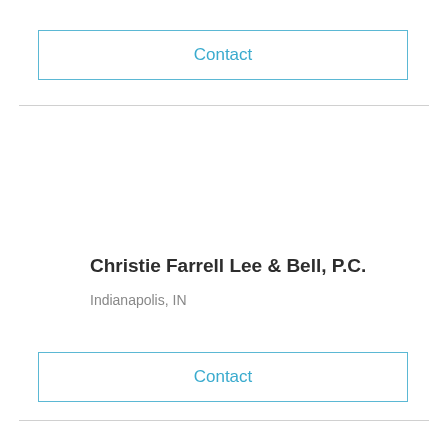Contact
Christie Farrell Lee & Bell, P.C.
Indianapolis, IN
Contact